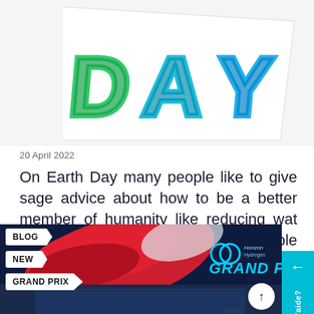[Figure (photo): Partial view of Earth Day logo with colorful '3D' style letters in green and blue on a white background with a tilted card/paper effect]
20 April 2022
On Earth Day many people like to give sage advice about how to be a better member of humanity like reducing wat use, planting trees, and using reusable shopping bags.
[Figure (photo): Horizon Hydrogen Grand Prix banner image showing a racing-themed graphic with a red flag, team logo, and labels BLOG, NEW, GRAND PRIX. An up-arrow button is visible at the bottom right.]